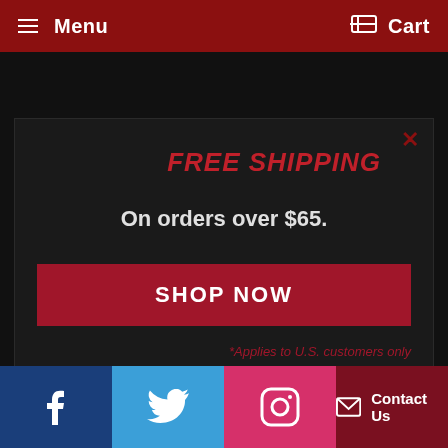Menu  Cart
FREE SHIPPING
On orders over $65.
SHOP NOW
*Applies to U.S. customers only
Facebook  Twitter  Instagram  Contact Us